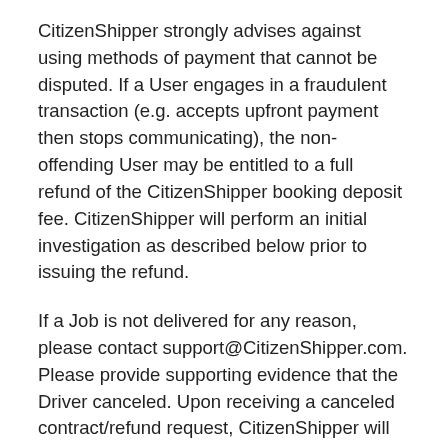CitizenShipper strongly advises against using methods of payment that cannot be disputed. If a User engages in a fraudulent transaction (e.g. accepts upfront payment then stops communicating), the non-offending User may be entitled to a full refund of the CitizenShipper booking deposit fee. CitizenShipper will perform an initial investigation as described below prior to issuing the refund.
If a Job is not delivered for any reason, please contact support@CitizenShipper.com. Please provide supporting evidence that the Driver canceled. Upon receiving a canceled contract/refund request, CitizenShipper will contact the Driver and confirm that the cancellation did occur. Drivers have up to 3 days to reply and confirm the cancellation. Refunds of the CitizenShipper booking fee will be processed only after the investigation of the cancellation has been completed.
If a Driver disputes that they canceled the Job then an